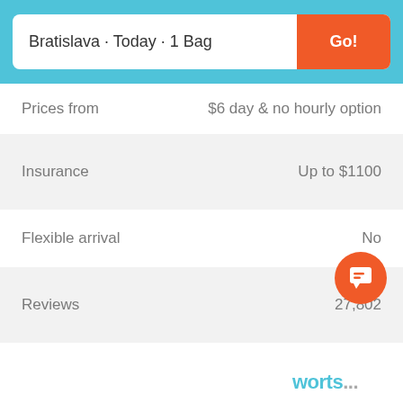Bratislava · Today · 1 Bag
Go!
Prices from
$6 day & no hourly option
Insurance
Up to $1100
Flexible arrival
No
Reviews
27,802